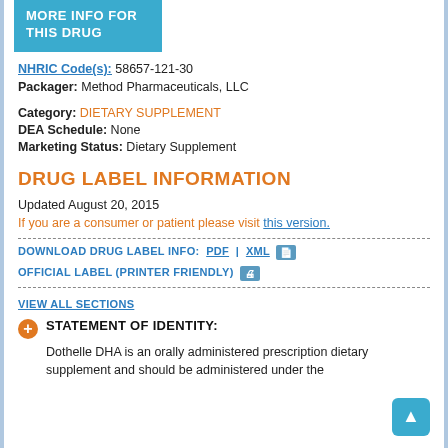MORE INFO FOR THIS DRUG
NHRIC Code(s): 58657-121-30
Packager: Method Pharmaceuticals, LLC
Category: DIETARY SUPPLEMENT
DEA Schedule: None
Marketing Status: Dietary Supplement
DRUG LABEL INFORMATION
Updated August 20, 2015
If you are a consumer or patient please visit this version.
DOWNLOAD DRUG LABEL INFO:  PDF | XML
OFFICIAL LABEL (PRINTER FRIENDLY)
VIEW ALL SECTIONS
STATEMENT OF IDENTITY:
Dothelle DHA is an orally administered prescription dietary supplement and should be administered under the